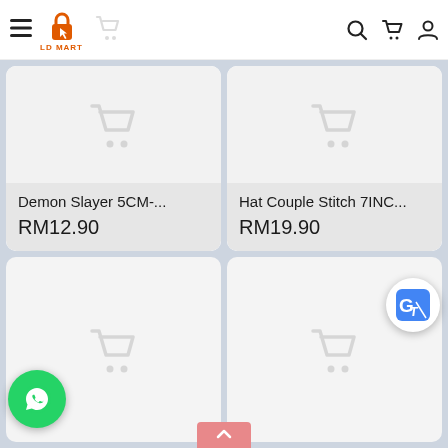LD MART — navigation bar with hamburger menu, logo, search, cart, and account icons
[Figure (screenshot): Product card for Demon Slayer 5CM-... showing placeholder cart image, product name and price RM12.90]
[Figure (screenshot): Product card for Hat Couple Stitch 7INC... showing placeholder cart image, product name and price RM19.90]
[Figure (screenshot): Product card (bottom left) with placeholder cart icon, no title visible]
[Figure (screenshot): Product card (bottom right) with placeholder cart icon, no title visible]
[Figure (logo): Google Translate floating button (blue G icon)]
[Figure (logo): WhatsApp floating button (green circle with phone/chat icon)]